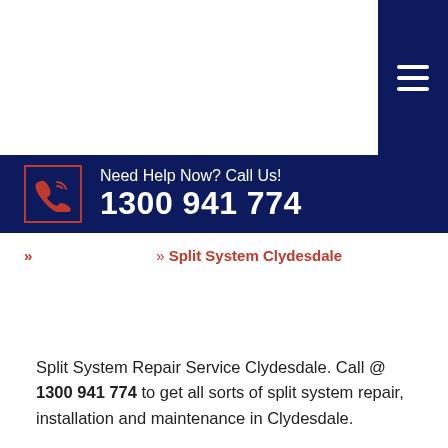Navigation header with hamburger menu button
Need Help Now? Call Us! 1300 941 774
» » Split System Clydesdale
Split System Repair Service Clydesdale. Call @ 1300 941 774 to get all sorts of split system repair, installation and maintenance in Clydesdale.
Reliable Split System Repair Service Professionals in Clydesdale